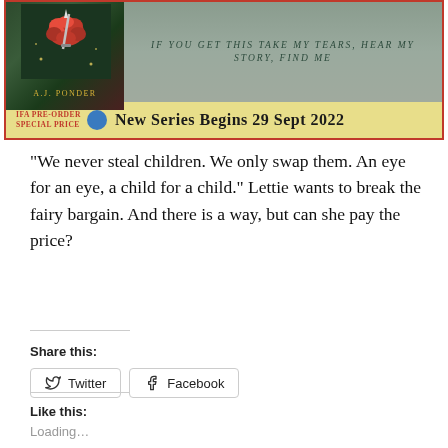[Figure (illustration): Book banner for A.J. Ponder novel with rose and dagger illustration on dark background. Top section shows book cover art with red rose and silver dagger, author name A.J. Ponder, and tagline 'If you get this take my tears, hear my story, find me'. Bottom yellow bar reads 'IFA Pre-order Special Price' and 'New Series Begins 29 Sept 2022'.]
“We never steal children. We only swap them. An eye for an eye, a child for a child.” Lettie wants to break the fairy bargain. And there is a way, but can she pay the price?
Share this:
Twitter  Facebook
Like this:
Loading...